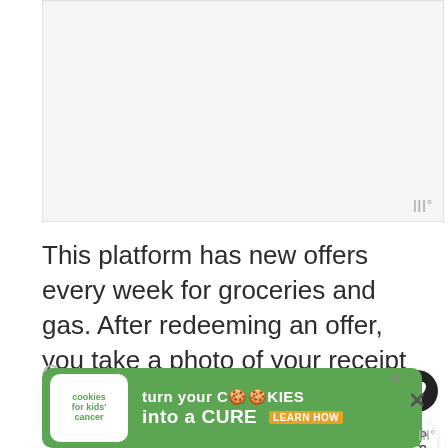[Figure (photo): Light gray placeholder image area at top of page]
This platform has new offers every week for groceries and gas. After redeeming an offer, you take a photo of your receipt and upload it on the app.
[Figure (infographic): Advertisement banner: 'cookies for kids cancer — turn your COOKIES into a CURE LEARN HOW' with green background and cookie icons]